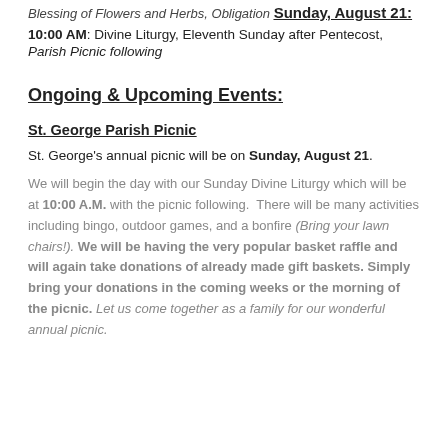Blessing of Flowers and Herbs, Obligation
Sunday, August 21:
10:00 AM: Divine Liturgy, Eleventh Sunday after Pentecost, Parish Picnic following
Ongoing & Upcoming Events:
St. George Parish Picnic
St. George's annual picnic will be on Sunday, August 21.
We will begin the day with our Sunday Divine Liturgy which will be at 10:00 A.M. with the picnic following. There will be many activities including bingo, outdoor games, and a bonfire (Bring your lawn chairs!). We will be having the very popular basket raffle and will again take donations of already made gift baskets. Simply bring your donations in the coming weeks or the morning of the picnic. Let us come together as a family for our wonderful annual picnic.